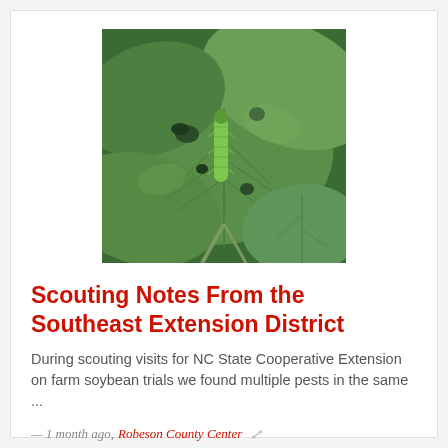[Figure (photo): Close-up photograph of a green caterpillar on large green soybean leaves with chewed holes visible]
Scouting Notes From the Southeast Extension District
During scouting visits for NC State Cooperative Extension on farm soybean trials we found multiple pests in the same ...
— 1 month ago, Robeson County Center